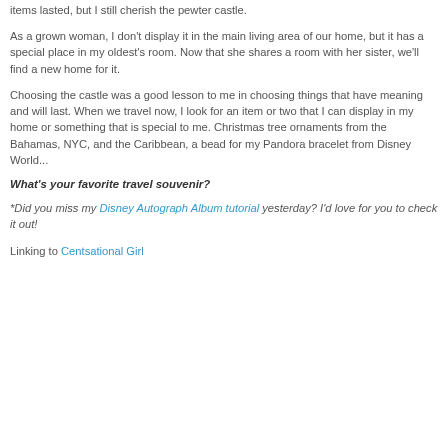items lasted, but I still cherish the pewter castle.
As a grown woman, I don't display it in the main living area of our home, but it has a special place in my oldest's room. Now that she shares a room with her sister, we'll find a new home for it.
Choosing the castle was a good lesson to me in choosing things that have meaning and will last. When we travel now, I look for an item or two that I can display in my home or something that is special to me. Christmas tree ornaments from the Bahamas, NYC, and the Caribbean, a bead for my Pandora bracelet from Disney World...
What's your favorite travel souvenir?
*Did you miss my Disney Autograph Album tutorial yesterday? I'd love for you to check it out!
Linking to Centsational Girl